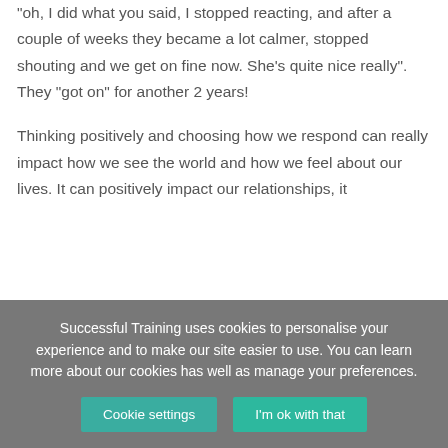“oh, I did what you said, I stopped reacting, and after a couple of weeks they became a lot calmer, stopped shouting and we get on fine now. She’s quite nice really”. They “got on” for another 2 years!
Thinking positively and choosing how we respond can really impact how we see the world and how we feel about our lives. It can positively impact our relationships, it
Successful Training uses cookies to personalise your experience and to make our site easier to use. You can learn more about our cookies has well as manage your preferences.